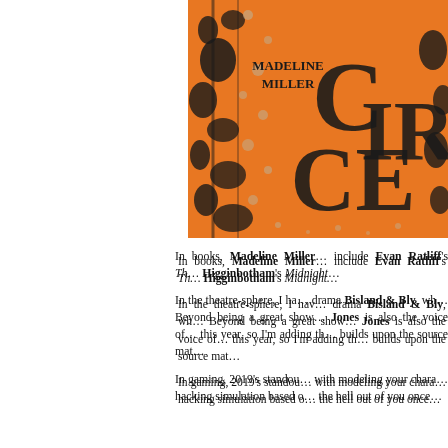[Figure (illustration): Book cover of 'Circe' by Madeline Miller — orange background with black botanical/floral pattern and large black letterforms spelling CIRCE]
In books, Madeline Miller… include Evan Ratliff's Th… Higginbotham's Midnight…
In the theatre-sphere, I ha… drama Bisland & Bly, wh… Beyond being a great show… Jones is also the voice of… this year, so I'm adding th… builds upon the source mat…
In gaming, 2019's standou… with modeling your chara… hacking simulation based o… the hell out of you once…